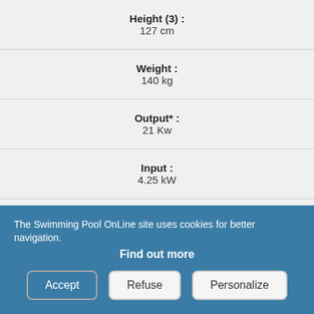| Height (3) : | 127 cm |
| Weight : | 140 kg |
| Output* : | 21 Kw |
| Input : | 4.25 kW |
| COP** : | 4.94 |
| Defrosting function : | manufactured series, operational up to -15°c |
| Decibels : | 48 dB |
| Power supply : | 230 or 400 V |
| Circuit breaker : |  |
| Maximum volume of pool : |  |
The Swimming Pool OnLine site uses cookies for better navigation. Find out more
Accept | Refuse | Personalize